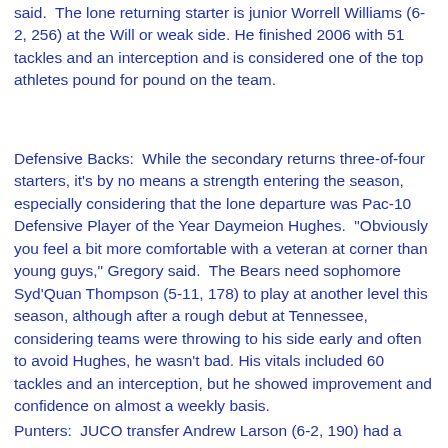said.  The lone returning starter is junior Worrell Williams (6-2, 256) at the Will or weak side. He finished 2006 with 51 tackles and an interception and is considered one of the top athletes pound for pound on the team.
Defensive Backs:  While the secondary returns three-of-four starters, it's by no means a strength entering the season, especially considering that the lone departure was Pac-10 Defensive Player of the Year Daymeion Hughes.  "Obviously you feel a bit more comfortable with a veteran at corner than young guys," Gregory said.  The Bears need sophomore Syd'Quan Thompson (5-11, 178) to play at another level this season, although after a rough debut at Tennessee, considering teams were throwing to his side early and often to avoid Hughes, he wasn't bad. His vitals included 60 tackles and an interception, but he showed improvement and confidence on almost a weekly basis.
Punters:  JUCO transfer Andrew Larson (6-2, 190) had a